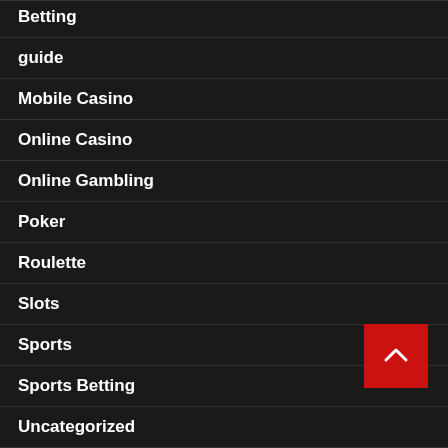Betting
guide
Mobile Casino
Online Casino
Online Gambling
Poker
Roulette
Slots
Sports
Sports Betting
Uncategorized
Video Poker
Home   About Us   Bitcoin   Cds   Contact Us   Privacy Policy